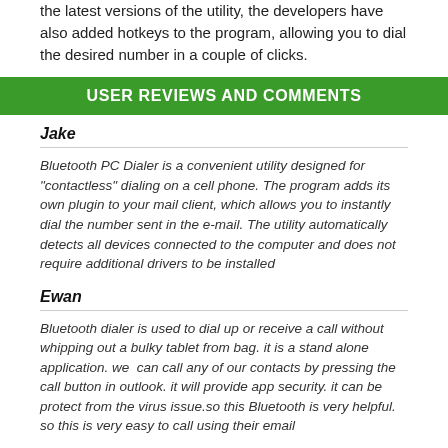the latest versions of the utility, the developers have also added hotkeys to the program, allowing you to dial the desired number in a couple of clicks.
USER REVIEWS AND COMMENTS
Jake
Bluetooth PC Dialer is a convenient utility designed for "contactless" dialing on a cell phone. The program adds its own plugin to your mail client, which allows you to instantly dial the number sent in the e-mail. The utility automatically detects all devices connected to the computer and does not require additional drivers to be installed
Ewan
Bluetooth dialer is used to dial up or receive a call without whipping out a bulky tablet from bag. it is a stand alone application. we  can call any of our contacts by pressing the call button in outlook. it will provide app security. it can be protect from the virus issue.so this Bluetooth is very helpful. so this is very easy to call using their email